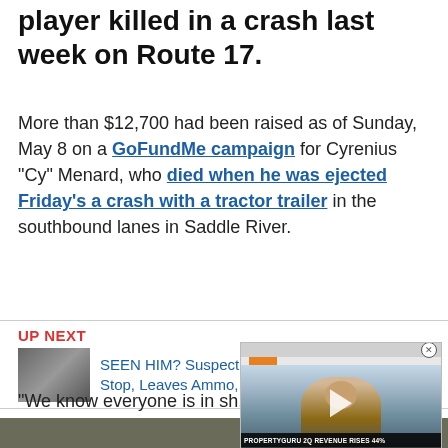player killed in a crash last week on Route 17.
More than $12,700 had been raised as of Sunday, May 8 on a GoFundMe campaign for Cyrenius "Cy" Menard, who died when he was ejected Friday's a crash with a tractor trailer in the southbound lanes in Saddle River.
UP NEXT
[Figure (photo): Thumbnail photo of suspect for 'SEEN HIM?' article]
SEEN HIM? Suspect Flees Elmwood Park PD Stop, Leaves Ammo, Crack, C...
[Figure (screenshot): Embedded video player overlay showing a man with glasses in a suit, with caption 'PROPERTYGURU 2Q REVENUE RISES 44%' and person identified as 'Joe Dische, PROPERTYGURU GROUP CFO']
"We know everyone is in sh... able to physically be here to say goodbye or see